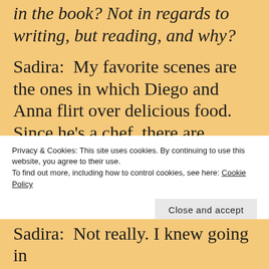in the book? Not in regards to writing, but reading, and why?
Sadira:  My favorite scenes are the ones in which Diego and Anna flirt over delicious food. Since he's a chef, there are several! Anna's not much of a cook, but she does prepare a Lebanese feast for Diego with the help of her Aunt Hala, the woman who raised Anna after her
Privacy & Cookies: This site uses cookies. By continuing to use this website, you agree to their use.
To find out more, including how to control cookies, see here: Cookie Policy
Close and accept
Sadira:  Not really. I knew going in